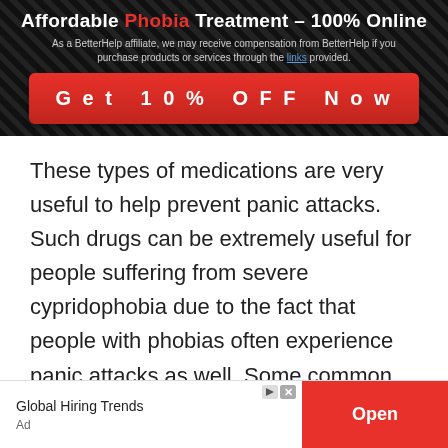Affordable Phobia Treatment – 100% Online
As a BetterHelp affiliate, we may receive compensation from BetterHelp if you purchase products or services through the links provided.
Get 10% OFF Now
These types of medications are very useful to help prevent panic attacks. Such drugs can be extremely useful for people suffering from severe cypridophobia due to the fact that people with phobias often experience panic attacks as well. Some common anti-anxiety medications include Xanax, Valium, and Klonopin, among many others.
These types of drugs are not typically taken on a
Global Hiring Trends
Ad
Open